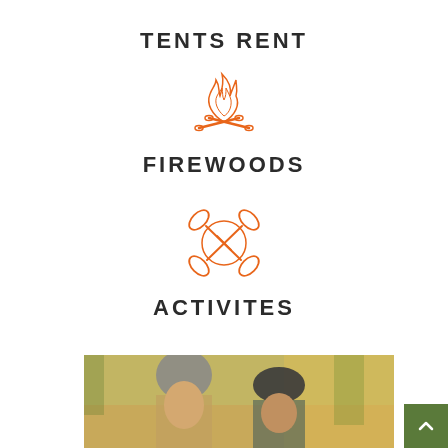TENTS RENT
[Figure (illustration): Orange campfire/bonfire icon]
FIREWOODS
[Figure (illustration): Orange crossed kayak paddles icon]
ACTIVITES
[Figure (photo): Two young people wearing hats outdoors in autumn setting]